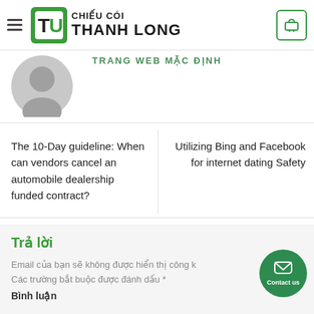CHIẾU CÓI THANH LONG
TRANG WEB MẶC ĐỊNH
[Figure (illustration): Grey avatar/user profile silhouette icon]
The 10-Day guideline: When can vendors cancel an automobile dealership funded contract?
Utilizing Bing and Facebook for internet dating Safety
Trả lời
Email của bạn sẽ không được hiển thị công k
Các trường bắt buộc được đánh dấu *
Bình luận